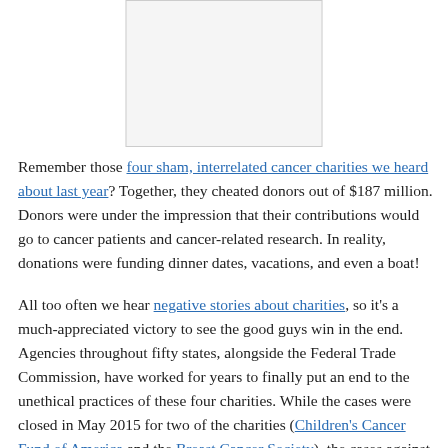[Figure (photo): Image placeholder at top center of page]
Remember those four sham, interrelated cancer charities we heard about last year? Together, they cheated donors out of $187 million. Donors were under the impression that their contributions would go to cancer patients and cancer-related research. In reality, donations were funding dinner dates, vacations, and even a boat!
All too often we hear negative stories about charities, so it's a much-appreciated victory to see the good guys win in the end. Agencies throughout fifty states, alongside the Federal Trade Commission, have worked for years to finally put an end to the unethical practices of these four charities. While the cases were closed in May 2015 for two of the charities (Children's Cancer Fund of America and the Breast Cancer Society), the cases against the remaining two just closed.